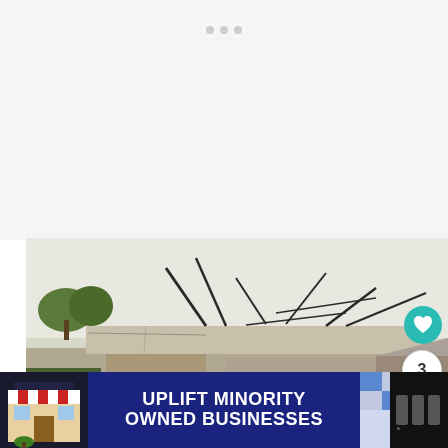[Figure (photo): Pagination dots (3 small grey circles) on white background at top of page]
[Figure (photo): Photograph of a damaged or demolished concrete bunker/building with collapsed roof, exposed rebar and metal poles sticking up, surrounded by trees and overcast sky. A teal heart/like button, share button, and number '3' badge are overlaid on the right side.]
[Figure (photo): Advertisement banner at bottom: 'UPLIFT MINORITY OWNED BUSINESSES' in bold white text on dark blue background, with store illustration on left and checkered pattern on right, with an X close button.]